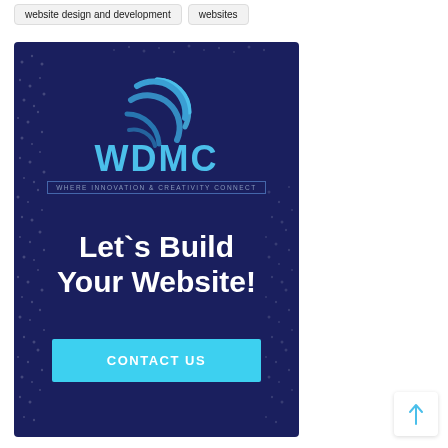website design and development
websites
[Figure (advertisement): WDMC advertisement banner on dark navy background with globe logo, 'Let`s Build Your Website!' headline, and 'CONTACT US' button]
WDMC WHERE INNOVATION & CREATIVITY CONNECT
Let`s Build Your Website!
CONTACT US